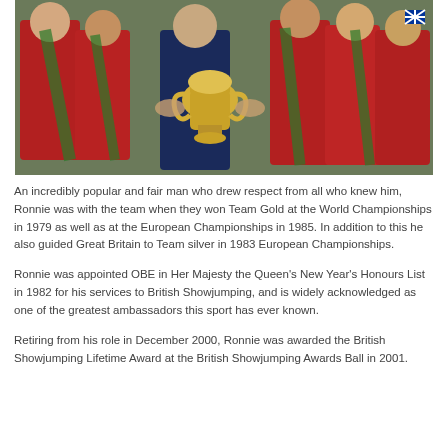[Figure (photo): Group photo of people in red equestrian jackets with green sashes and one person in a blue suit, all holding a large golden trophy cup together outdoors.]
An incredibly popular and fair man who drew respect from all who knew him, Ronnie was with the team when they won Team Gold at the World Championships in 1979 as well as at the European Championships in 1985. In addition to this he also guided Great Britain to Team silver in 1983 European Championships.
Ronnie was appointed OBE in Her Majesty the Queen’s New Year’s Honours List in 1982 for his services to British Showjumping, and is widely acknowledged as one of the greatest ambassadors this sport has ever known.
Retiring from his role in December 2000, Ronnie was awarded the British Showjumping Lifetime Award at the British Showjumping Awards Ball in 2001.